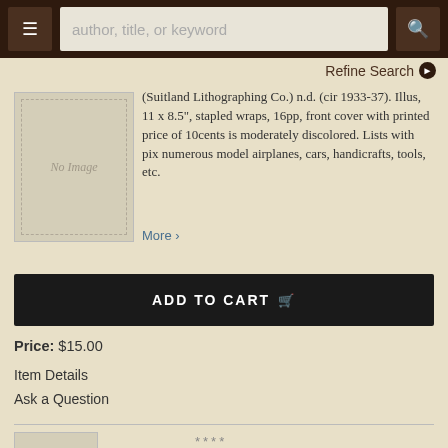author, title, or keyword
Refine Search
[Figure (illustration): No Image placeholder for book thumbnail]
(Suitland Lithographing Co.) n.d. (cir 1933-37). Illus, 11 x 8.5", stapled wraps, 16pp, front cover with printed price of 10cents is moderately discolored. Lists with pix numerous model airplanes, cars, handicrafts, tools, etc.
More >
ADD TO CART
Price: $15.00
Item Details
Ask a Question
****